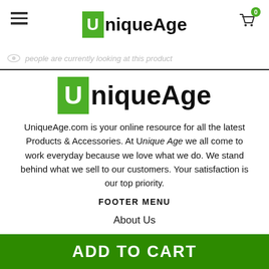UniqueAge
people are currently looking at this product
[Figure (logo): UniqueAge logo with green U box and bold black text]
UniqueAge.com is your online resource for all the latest Products & Accessories. At Unique Age we all come to work everyday because we love what we do. We stand behind what we sell to our customers. Your satisfaction is our top priority.
FOOTER MENU
About Us
Track Order
Refund Policy
ADD TO CART